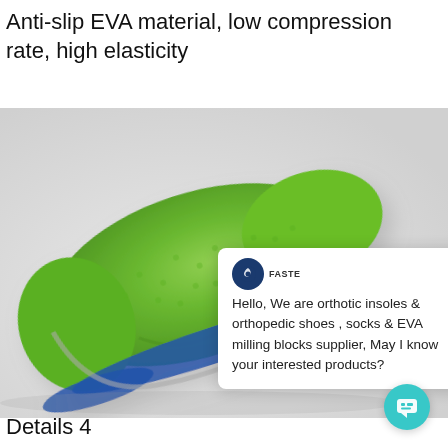Anti-slip EVA material, low compression rate, high elasticity
[Figure (photo): Green EVA orthotic insole viewed from above at an angle, showing green fabric top surface and blue bottom edge, on a light gray background.]
[Figure (screenshot): Chat popup overlay with logo icon labeled FASTE, close X button, and message: Hello, We are orthotic insoles & orthopedic shoes , socks & EVA milling blocks supplier, May I know your interested products?]
Details 4